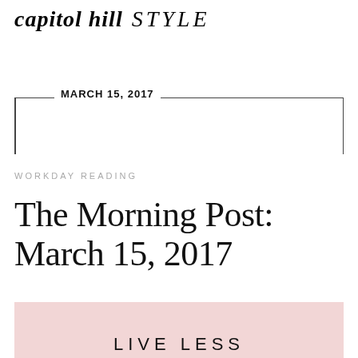capitol hill STYLE
MARCH 15, 2017
WORKDAY READING
The Morning Post: March 15, 2017
[Figure (illustration): Pink background block with large uppercase text 'LIVE LESS' partially visible at the bottom]